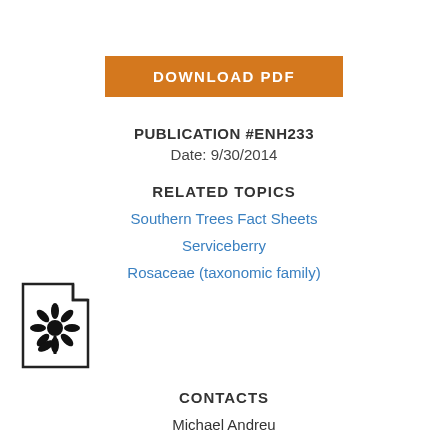[Figure (other): Orange download PDF button with white bold text]
PUBLICATION #ENH233
Date: 9/30/2014
RELATED TOPICS
Southern Trees Fact Sheets
Serviceberry
Rosaceae (taxonomic family)
[Figure (illustration): Document icon with a flower/sunflower symbol]
CONTACTS
Michael Andreu